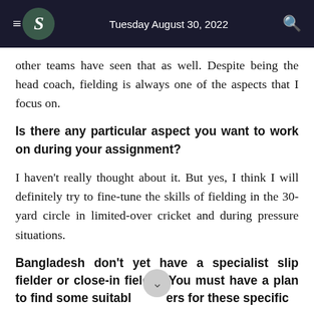Tuesday August 30, 2022
other teams have seen that as well. Despite being the head coach, fielding is always one of the aspects that I focus on.
Is there any particular aspect you want to work on during your assignment?
I haven't really thought about it. But yes, I think I will definitely try to fine-tune the skills of fielding in the 30-yard circle in limited-over cricket and during pressure situations.
Bangladesh don't yet have a specialist slip fielder or close-in fielder. You must have a plan to find some suitable players for these specific